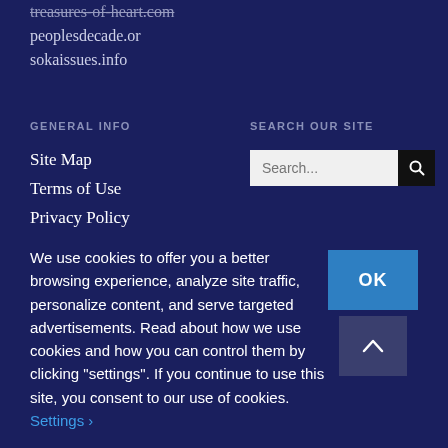treasures-of-heart.com
peoplesdecade.or
sokaissues.info
GENERAL INFO
SEARCH OUR SITE
Site Map
Terms of Use
Privacy Policy
Contact
SELECT LANGUAGE
We use cookies to offer you a better browsing experience, analyze site traffic, personalize content, and serve targeted advertisements. Read about how we use cookies and how you can control them by clicking "settings". If you continue to use this site, you consent to our use of cookies. Settings ›